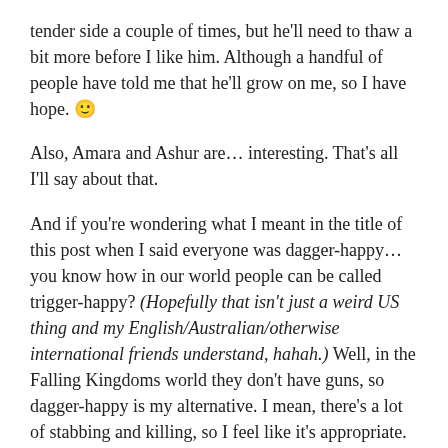tender side a couple of times, but he'll need to thaw a bit more before I like him. Although a handful of people have told me that he'll grow on me, so I have hope. 🙂
Also, Amara and Ashur are… interesting. That's all I'll say about that.
And if you're wondering what I meant in the title of this post when I said everyone was dagger-happy… you know how in our world people can be called trigger-happy? (Hopefully that isn't just a weird US thing and my English/Australian/otherwise international friends understand, hahah.) Well, in the Falling Kingdoms world they don't have guns, so dagger-happy is my alternative. I mean, there's a lot of stabbing and killing, so I feel like it's appropriate. 😜